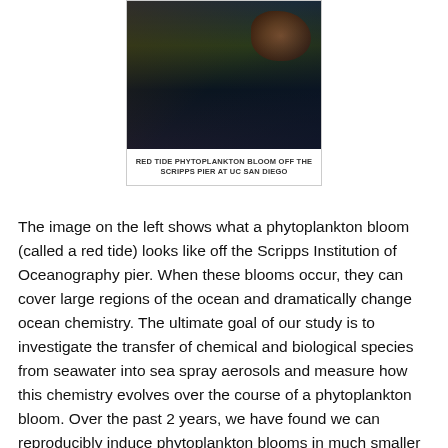[Figure (photo): Dark photograph of a red tide phytoplankton bloom off the Scripps Pier at UC San Diego, showing dark ocean water with reddish-brown discoloration]
RED TIDE PHYTOPLANKTON BLOOM OFF THE SCRIPPS PIER AT UC SAN DIEGO
The image on the left shows what a phytoplankton bloom (called a red tide) looks like off the Scripps Institution of Oceanography pier. When these blooms occur, they can cover large regions of the ocean and dramatically change ocean chemistry. The ultimate goal of our study is to investigate the transfer of chemical and biological species from seawater into sea spray aerosols and measure how this chemistry evolves over the course of a phytoplankton bloom. Over the past 2 years, we have found we can reproducibly induce phytoplankton blooms in much smaller tanks. It